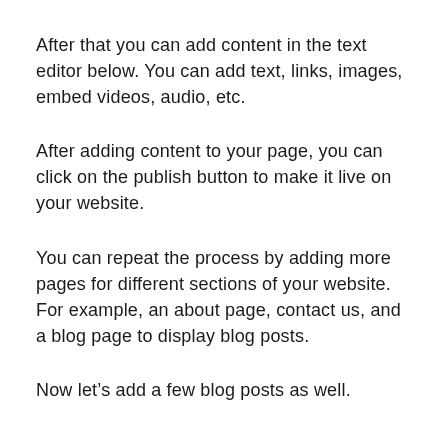After that you can add content in the text editor below. You can add text, links, images, embed videos, audio, etc.
After adding content to your page, you can click on the publish button to make it live on your website.
You can repeat the process by adding more pages for different sections of your website. For example, an about page, contact us, and a blog page to display blog posts.
Now let’s add a few blog posts as well.